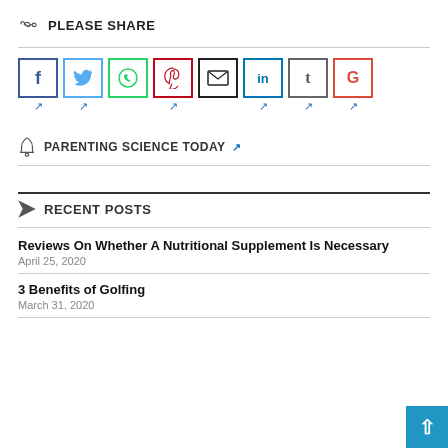PLEASE SHARE
[Figure (other): Social share buttons: Facebook (f), Twitter bird, WhatsApp, Pinterest, Email (envelope), LinkedIn (in), Tumblr (t), Google+ (G), each in a colored bordered box with external link icons below]
PARENTING SCIENCE TODAY
RECENT POSTS
Reviews On Whether A Nutritional Supplement Is Necessary
April 25, 2020
3 Benefits of Golfing
March 31, 2020